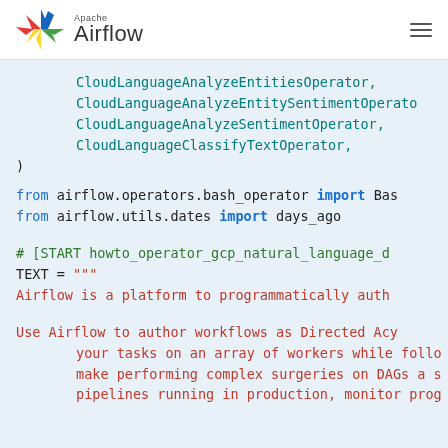Apache Airflow (logo and navigation)
CloudLanguageAnalyzeEntitiesOperator,
    CloudLanguageAnalyzeEntitySentimentOperator,
    CloudLanguageAnalyzeSentimentOperator,
    CloudLanguageClassifyTextOperator,
)
from airflow.operators.bash_operator import Bas
from airflow.utils.dates import days_ago

# [START howto_operator_gcp_natural_language_d
TEXT = """
Airflow is a platform to programmatically auth

Use Airflow to author workflows as Directed Acy
    your tasks on an array of workers while follo
    make performing complex surgeries on DAGs a s
    pipelines running in production, monitor prog